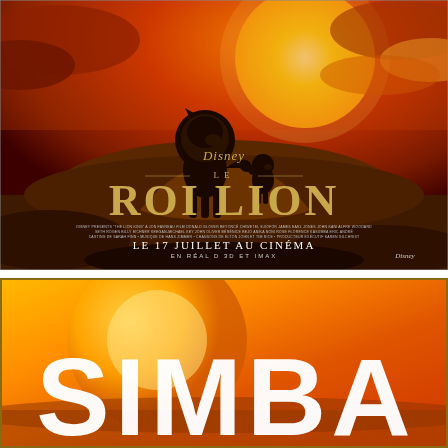[Figure (illustration): Le Roi Lion (The Lion King) 2019 Disney movie poster in French. Features a large lion (Mufasa) and small lion cub (Simba) silhouetted on a rocky outcrop against a dramatic orange sunset sky with a large glowing sun. Disney logo at center, 'LE ROI LION' title in gold letters, credits in small white text, 'LE 17 JUILLET AU CINÉMA' release date, 'EN RÉAL D 3D ET IMAX' format text.]
[Figure (illustration): Bottom portion of a second Lion King related image showing a golden/orange savanna sunset background with large white bold text reading 'SIMBA' partially visible (cut off at bottom of page).]